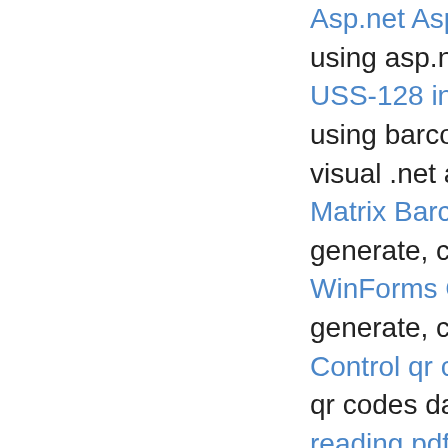Asp.net Aspx datam using asp.net web p USS-128 integrated using barcode printe visual .net applicatio Matrix Barcode barc generate, create ma WinForms Crystal qr generate, create qr c Control qr code data qr codes data for wo reading pdf 417 on n Using Barcode Cont barcode image in No Get data matrix ecc2 use rdlc report data
Articles you ma
CODES FOR T qrcode
FUNDAMENTA barcode
REFERENCE
Creating an AS
EXPERIMENT